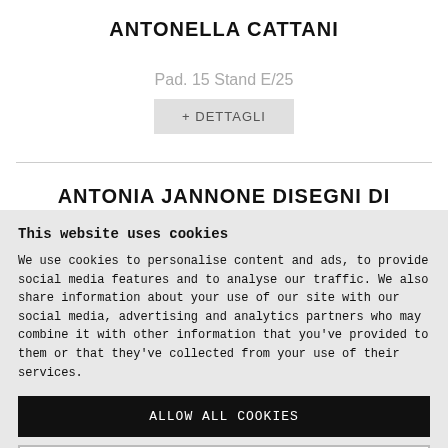ANTONELLA CATTANI
Pad. 15 Stand E/25
+ DETTAGLI
ANTONIA JANNONE DISEGNI DI
This website uses cookies
We use cookies to personalise content and ads, to provide social media features and to analyse our traffic. We also share information about your use of our site with our social media, advertising and analytics partners who may combine it with other information that you've provided to them or that they've collected from your use of their services.
ALLOW ALL COOKIES
ALLOW SELECTION
USE NECESSARY COOKIES ONLY